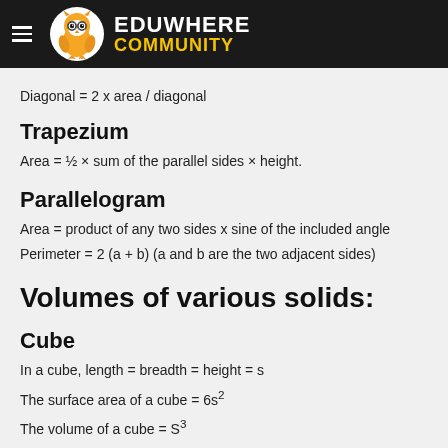EDUWHERE COMMUNITY
Diagonal = 2 x area / diagonal
Trapezium
Area = ½ × sum of the parallel sides × height.
Parallelogram
Area = product of any two sides x sine of the included angle
Perimeter = 2 (a + b) (a and b are the two adjacent sides)
Volumes of various solids:
Cube
In a cube, length = breadth = height = s
The surface area of a cube = 6s²
The volume of a cube = S³